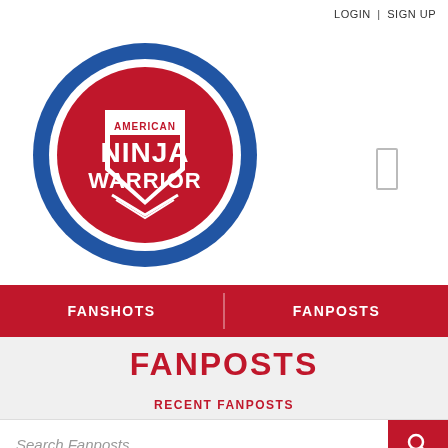LOGIN | SIGN UP
[Figure (logo): American Ninja Warrior circular logo with blue outer ring and red inner shield containing white text 'AMERICAN NINJA WARRIOR']
FANSHOTS | FANPOSTS
FANPOSTS
RECENT FANPOSTS
Search Fanposts